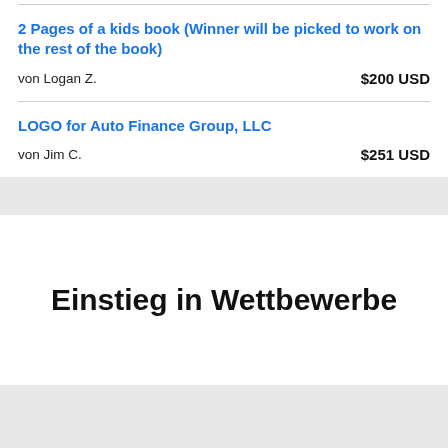2 Pages of a kids book (Winner will be picked to work on the rest of the book)
von Logan Z.    $200 USD
LOGO for Auto Finance Group, LLC
von Jim C.    $251 USD
Einstieg in Wettbewerbe